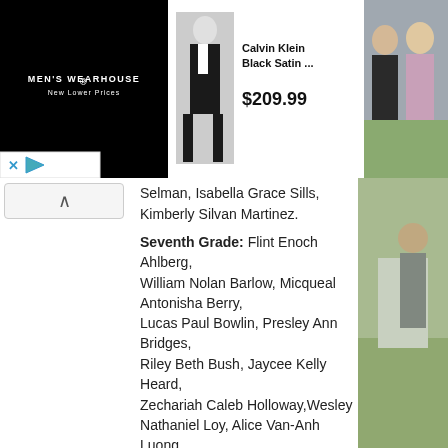[Figure (screenshot): Men's Wearhouse advertisement banner showing a man in a black tuxedo, Calvin Klein Black Satin product listing at $209.99, and a couple in formal wear on the right.]
Selman, Isabella Grace Sills, Kimberly Silvan Martinez.
Seventh Grade: Flint Enoch Ahlberg, William Nolan Barlow, Micqueal Antonisha Berry, Lucas Paul Bowlin, Presley Ann Bridges, Riley Beth Bush, Jaycee Kelly Heard, Zechariah Caleb Holloway, Wesley Nathaniel Loy, Alice Van-Anh Luong, Mackenzie Claire Mire, Elizabeth Claire Moulder, Judah Cole Scopel, Jacey Mikayla Shannon, Jaide Leeanne Shoop, Laci Lynn Sykes, Madyson Brooke